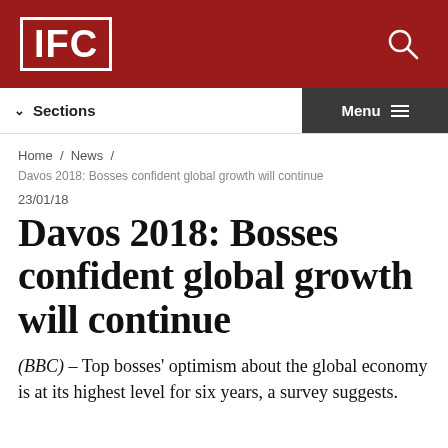IFC
Sections   Menu
Home / News /
Davos 2018: Bosses confident global growth will continue
23/01/18
Davos 2018: Bosses confident global growth will continue
(BBC) – Top bosses' optimism about the global economy is at its highest level for six years, a survey suggests.